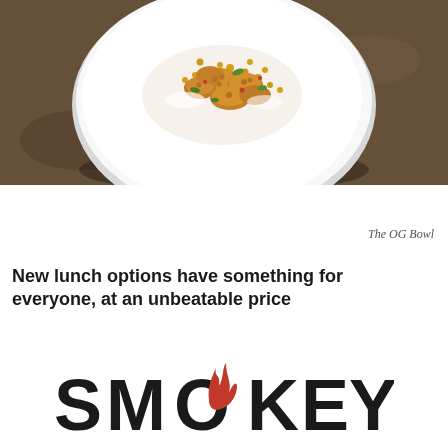[Figure (photo): Overhead/slightly angled photo of a white plate with a food dish called The OG Bowl, containing fried cauliflower, corn, and various toppings, on a dark stone surface]
The OG Bowl
New lunch options have something for everyone, at an unbeatable price
[Figure (logo): SMOKEY restaurant logo in bold black uppercase letters with a red flame replacing part of the letter O]